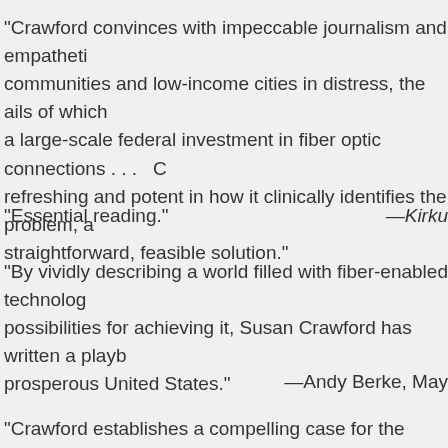“Crawford convinces with impeccable journalism and empatheti communities and low-income cities in distress, the ails of which a large-scale federal investment in fiber optic connections . . .  C refreshing and potent in how it clinically identifies the problem, a straightforward, feasible solution.”
“Essential reading.”—Kirku
“By vividly describing a world filled with fiber-enabled technolog possibilities for achieving it, Susan Crawford has written a playb prosperous United States.”
—Andy Berke, May
“Crawford establishes a compelling case for the necessity of aff